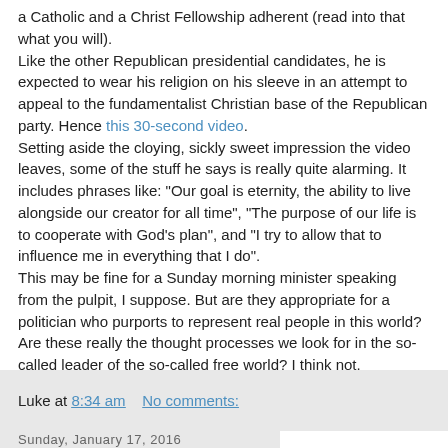a Catholic and a Christ Fellowship adherent (read into that what you will).
Like the other Republican presidential candidates, he is expected to wear his religion on his sleeve in an attempt to appeal to the fundamentalist Christian base of the Republican party. Hence this 30-second video.
Setting aside the cloying, sickly sweet impression the video leaves, some of the stuff he says is really quite alarming. It includes phrases like: "Our goal is eternity, the ability to live alongside our creator for all time", "The purpose of our life is to cooperate with God's plan", and "I try to allow that to influence me in everything that I do".
This may be fine for a Sunday morning minister speaking from the pulpit, I suppose. But are they appropriate for a politician who purports to represent real people in this world? Are these really the thought processes we look for in the so-called leader of the so-called free world? I think not.
Luke at 8:34 am    No comments:
Sunday, January 17, 2016